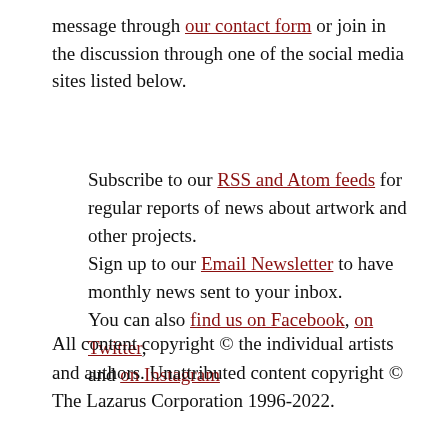message through our contact form or join in the discussion through one of the social media sites listed below.
Subscribe to our RSS and Atom feeds for regular reports of news about artwork and other projects.
Sign up to our Email Newsletter to have monthly news sent to your inbox.
You can also find us on Facebook, on Twitter,
and on Instagram
All content copyright © the individual artists and authors. Unattributed content copyright © The Lazarus Corporation 1996-2022.